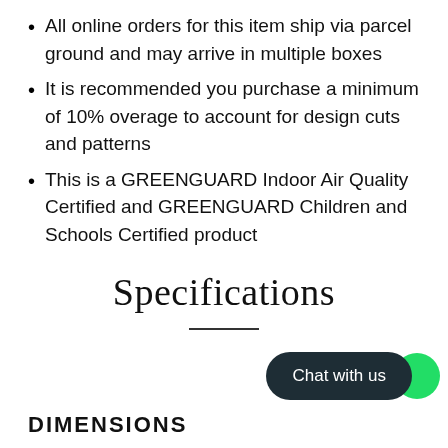All online orders for this item ship via parcel ground and may arrive in multiple boxes
It is recommended you purchase a minimum of 10% overage to account for design cuts and patterns
This is a GREENGUARD Indoor Air Quality Certified and GREENGUARD Children and Schools Certified product
Specifications
DIMENSIONS